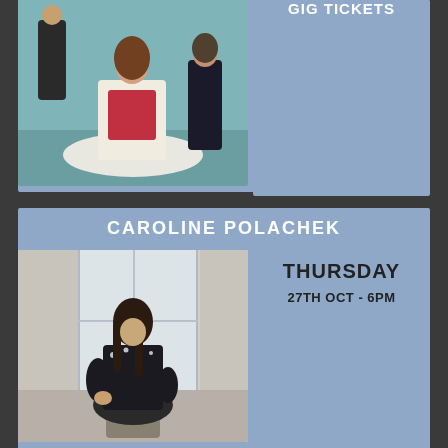26TH OCT - 7PM
[Figure (photo): Band photo with woman in white dress and red corset with man in black behind her]
GIG TICKETS
CAROLINE POLACHEK
[Figure (photo): Caroline Polachek seated on a stool wearing a black floral top]
THURSDAY
27TH OCT - 6PM
GIG TICKETS